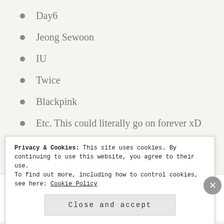Day6
Jeong Sewoon
IU
Twice
Blackpink
Etc. This could literally go on forever xD
Sponsored Content
Small Business Loans & Funding –
Privacy & Cookies: This site uses cookies. By continuing to use this website, you agree to their use.
To find out more, including how to control cookies, see here: Cookie Policy
Close and accept